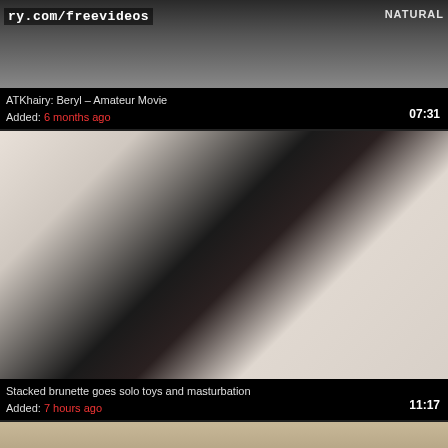[Figure (screenshot): Partial video thumbnail showing website URL overlay 'ry.com/freevideos' and text 'NATURAL' in top right corner]
ATKhairy: Beryl – Amateur Movie
Added: 6 months ago
07:31
[Figure (screenshot): Video thumbnail showing a brunette woman in a black floral dress, bending forward, solo video preview]
Stacked brunette goes solo toys and masturbation
Added: 7 hours ago
11:17
[Figure (screenshot): Partial video thumbnail at the bottom of the page, partially cut off]